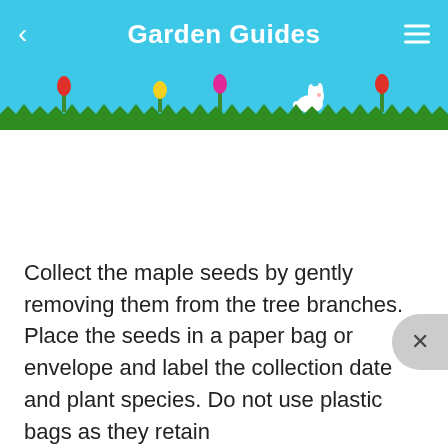Garden Guides
[Figure (illustration): Garden scene strip with green grass silhouette, tulips in red, yellow, and magenta, and a white bunny on a sky blue background]
Collect the maple seeds by gently removing them from the tree branches. Place the seeds in a paper bag or envelope and label the collection date and plant species. Do not use plastic bags as they retain